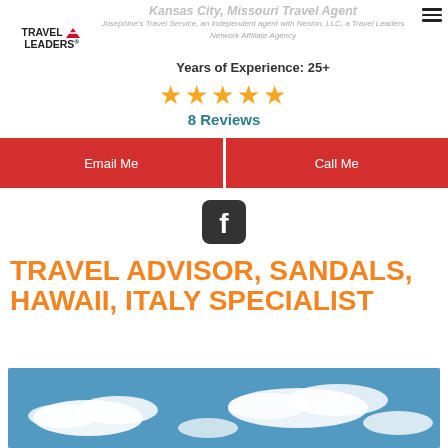Kansas City, Missouri Travel Agent
Josephine's Travel Service, an independent agent with Nexion, LLC, a Travel Leaders Network Affiliate Agency
Years of Experience: 25+
★★★★★ 8 Reviews
Email Me
Call Me
[Figure (logo): Facebook icon - rounded square with F logo]
TRAVEL ADVISOR, SANDALS, HAWAII, ITALY SPECIALIST
[Figure (photo): Blue sky with white clouds - travel themed photo]